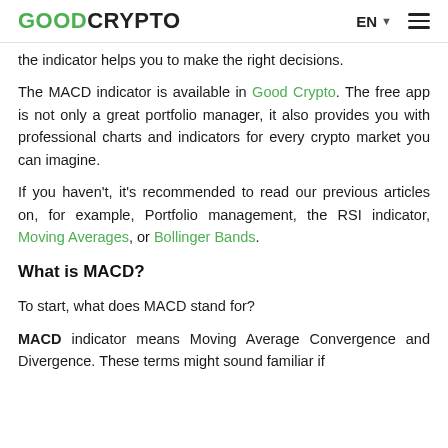GOODCRYPTO  EN  ☰
the indicator helps you to make the right decisions.
The MACD indicator is available in Good Crypto. The free app is not only a great portfolio manager, it also provides you with professional charts and indicators for every crypto market you can imagine.
If you haven't, it's recommended to read our previous articles on, for example, Portfolio management, the RSI indicator, Moving Averages, or Bollinger Bands.
What is MACD?
To start, what does MACD stand for?
MACD indicator means Moving Average Convergence and Divergence. These terms might sound familiar if you read our articles on Moving Averages and...